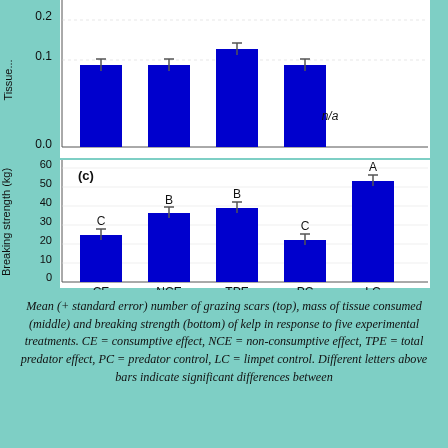[Figure (bar-chart): (top partial) tissue consumed]
[Figure (bar-chart): (c) Breaking strength (kg)]
Mean (+ standard error) number of grazing scars (top), mass of tissue consumed (middle) and breaking strength (bottom) of kelp in response to five experimental treatments. CE = consumptive effect, NCE = non-consumptive effect, TPE = total predator effect, PC = predator control, LC = limpet control. Different letters above bars indicate significant differences between